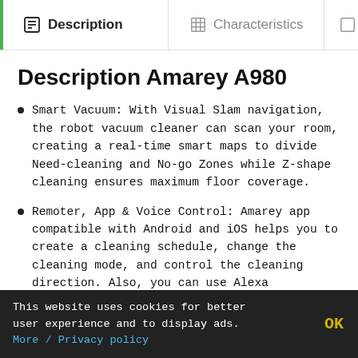Description | Characteristics
Description Amarey A980
Smart Vacuum: With Visual Slam navigation, the robot vacuum cleaner can scan your room, creating a real-time smart maps to divide Need-cleaning and No-go Zones while Z-shape cleaning ensures maximum floor coverage.
Remoter, App & Voice Control: Amarey app compatible with Android and iOS helps you to create a cleaning schedule, change the cleaning mode, and control the cleaning direction. Also, you can use Alexa
This website uses cookies for better user experience and to display ads. More / Privacy policy  OK